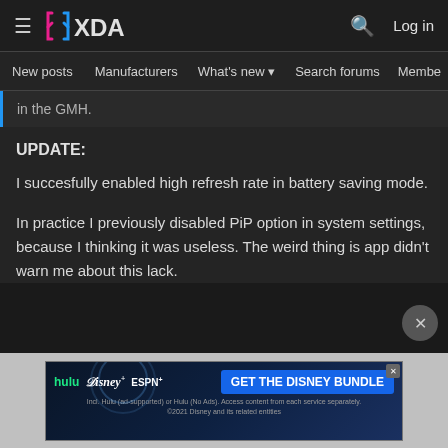XDA — New posts | Manufacturers | What's new | Search forums | Members
in the GMH.
UPDATE:
I succesfully enabled high refresh rate in battery saving mode.
In practice I previously disabled PiP option in system settings, because I thinking it was useless. The weird thing is app didn't warn me about this lack.
[Figure (screenshot): Disney Bundle advertisement banner showing Hulu, Disney+, ESPN+ logos with 'GET THE DISNEY BUNDLE' button and fine print text]
Incl. Hulu (ad-supported) or Hulu (No Ads). Access content from each service separately. ©2021 Disney and its related entities